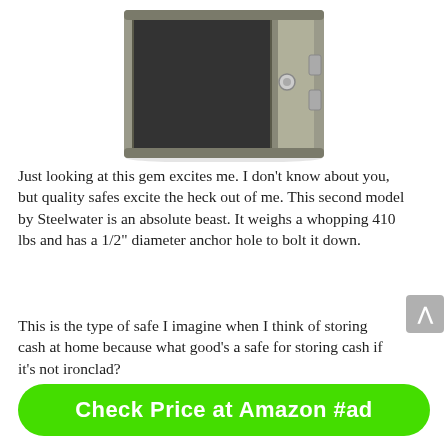[Figure (photo): A gray/khaki metal security safe with the door open, showing the interior. The safe has a silver dial lock on the door and a hinge on the right side.]
Just looking at this gem excites me. I don’t know about you, but quality safes excite the heck out of me. This second model by Steelwater is an absolute beast. It weighs a whopping 410 lbs and has a 1/2″ diameter anchor hole to bolt it down.
This is the type of safe I imagine when I think of storing cash at home because what good’s a safe for storing cash if it’s not ironclad?
Check Price at Amazon #ad